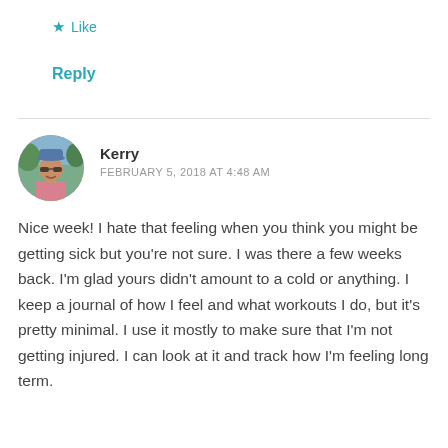★ Like
Reply
Kerry
FEBRUARY 5, 2018 AT 4:48 AM
[Figure (photo): Circular avatar photo of Kerry, a woman wearing sunglasses and a blue cap, outdoors with trees in background]
Nice week! I hate that feeling when you think you might be getting sick but you're not sure. I was there a few weeks back. I'm glad yours didn't amount to a cold or anything. I keep a journal of how I feel and what workouts I do, but it's pretty minimal. I use it mostly to make sure that I'm not getting injured. I can look at it and track how I'm feeling long term.